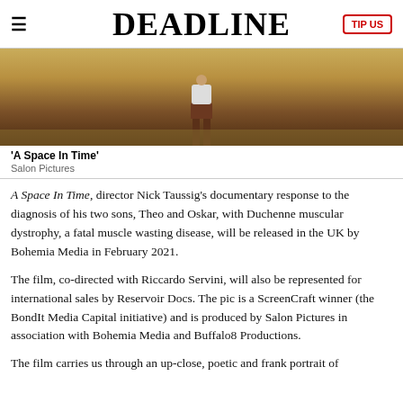DEADLINE
[Figure (photo): Still from 'A Space In Time' showing a person standing on grass, wearing shorts and a white shirt, viewed from behind.]
'A Space In Time'
Salon Pictures
A Space In Time, director Nick Taussig's documentary response to the diagnosis of his two sons, Theo and Oskar, with Duchenne muscular dystrophy, a fatal muscle wasting disease, will be released in the UK by Bohemia Media in February 2021.
The film, co-directed with Riccardo Servini, will also be represented for international sales by Reservoir Docs. The pic is a ScreenCraft winner (the BondIt Media Capital initiative) and is produced by Salon Pictures in association with Bohemia Media and Buffalo8 Productions.
The film carries us through an up-close, poetic and frank portrait of